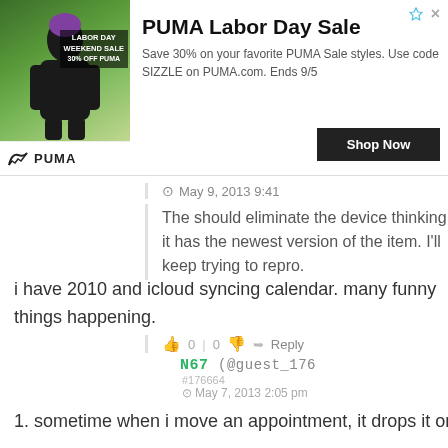[Figure (screenshot): PUMA Labor Day Sale advertisement banner with product image on left showing a person in athletic wear with text 'LABOR DAY WEEKEND SALE 30% OFF PUMA', PUMA logo/name below image, and ad content on right with title, description, and Shop Now button]
May 9, 2013 9:41
The should eliminate the device thinking it has the newest version of the item. I'll keep trying to repro.
0 | 0   Reply
N67 (@guest_176
#176664
May 7, 2013 2:05 pm
i have 2010 and icloud syncing calendar. many funny things happening.
1. sometime when i move an appointment, it drops it or